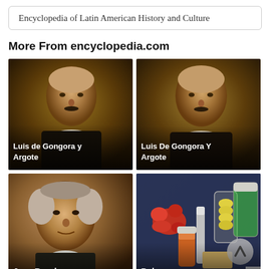Encyclopedia of Latin American History and Culture
More From encyclopedia.com
[Figure (photo): Portrait painting of Luis de Gongora y Argote with caption overlay]
[Figure (photo): Portrait painting of Luis De Gongora Y Argote with caption overlay]
[Figure (photo): Portrait painting of Jean Brunhes with caption overlay]
[Figure (photo): Photo of Polymers (colorful chemical/polymer samples) with scroll and close buttons and caption overlay]